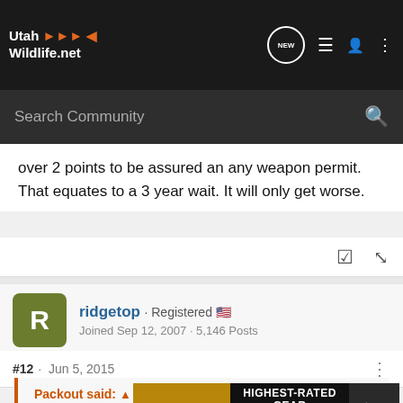Utah Wildlife.net — Search Community
over 2 points to be assured an any weapon permit. That equates to a 3 year wait. It will only get worse.
ridgetop · Registered — Joined Sep 12, 2007 · 5,146 Posts
#12 · Jun 5, 2015
Packout said: Actually Ridge, those numbers are darn close. Scare tactic? How about comparing it to...long term. T...